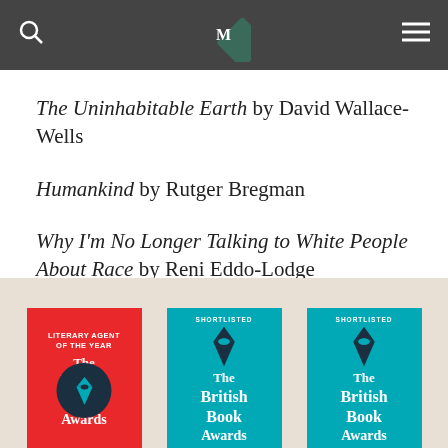Navigation bar with search, logo, and menu
...rnobyl by Serhii Plo...
...r We Sleep by Matthew Walker
The Uninhabitable Earth by David Wallace-Wells
Humankind by Rutger Bregman
Why I'm No Longer Talking to White People About Race by Reni Eddo-Lodge
[Figure (illustration): Three British Book Awards badge images: one red Literary Agent of the Year badge and two teal Shortlisted badges, partially visible at the bottom of the page]